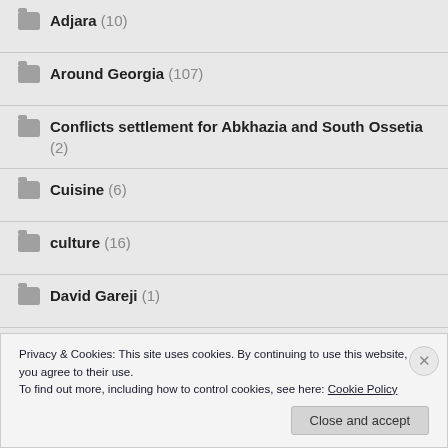Adjara (10)
Around Georgia (107)
Conflicts settlement for Abkhazia and South Ossetia (2)
Cuisine (6)
culture (16)
David Gareji (1)
Туры по Грузии (4)
Privacy & Cookies: This site uses cookies. By continuing to use this website, you agree to their use. To find out more, including how to control cookies, see here: Cookie Policy
Close and accept